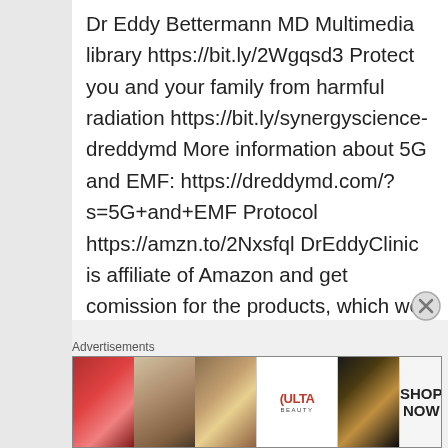Dr Eddy Bettermann MD Multimedia library https://bit.ly/2Wgqsd3 Protect you and your family from harmful radiation https://bit.ly/synergyscience-dreddymd More information about 5G and EMF: https://dreddymd.com/?s=5G+and+EMF Protocol https://amzn.to/2Nxsfql DrEddyClinic is affiliate of Amazon and get comission for the products, which we recommend https://www.amazon.com/shop/dreddyclinic ,
Advertisements
[Figure (photo): Advertisement banner with makeup/cosmetics imagery and ULTA beauty brand with SHOP NOW call to action]